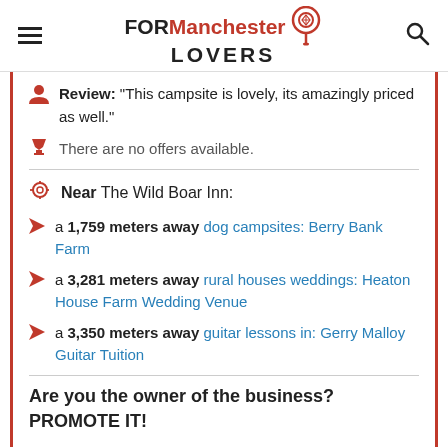FOR Manchester LOVERS
Review: "This campsite is lovely, its amazingly priced as well."
There are no offers available.
Near The Wild Boar Inn:
a 1,759 meters away dog campsites: Berry Bank Farm
a 3,281 meters away rural houses weddings: Heaton House Farm Wedding Venue
a 3,350 meters away guitar lessons in: Gerry Malloy Guitar Tuition
Are you the owner of the business? PROMOTE IT!